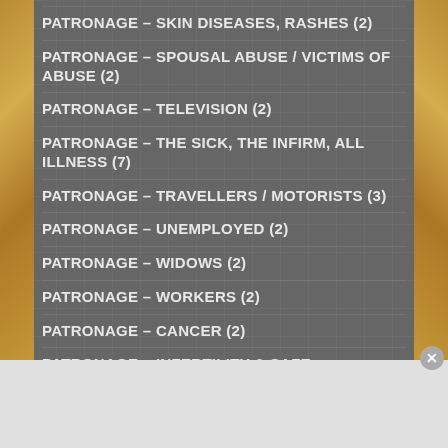PATRONAGE – SKIN DISEASES, RASHES (2)
PATRONAGE – SPOUSAL ABUSE / VICTIMS OF ABUSE (2)
PATRONAGE – TELEVISION (2)
PATRONAGE – THE SICK, THE INFIRM, ALL ILLNESS (7)
PATRONAGE – TRAVELLERS / MOTORISTS (3)
PATRONAGE – UNEMPLOYED (2)
PATRONAGE – WIDOWS (2)
PATRONAGE – WORKERS (2)
PATRONAGE – CANCER (2)
PATRONAGE – INFERTILITY & SAFE CHILDBIRTH (4)
PATRONAGE – STOMACH PAIN (?)
[Figure (illustration): Advertisement banner: red background with 'KISS BORING LIPS GOODBYE' text, SHOP NOW button, and Macy's logo. Woman's face visible at bottom left of ad.]
Advertisements